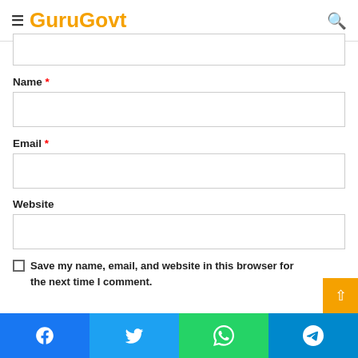GuruGovt
Name *
Email *
Website
Save my name, email, and website in this browser for the next time I comment.